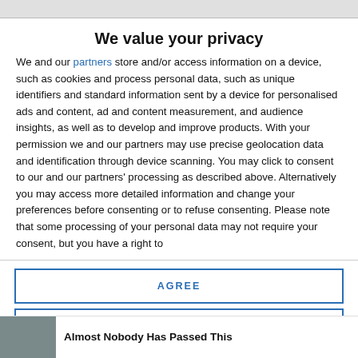We value your privacy
We and our partners store and/or access information on a device, such as cookies and process personal data, such as unique identifiers and standard information sent by a device for personalised ads and content, ad and content measurement, and audience insights, as well as to develop and improve products. With your permission we and our partners may use precise geolocation data and identification through device scanning. You may click to consent to our and our partners' processing as described above. Alternatively you may access more detailed information and change your preferences before consenting or to refuse consenting. Please note that some processing of your personal data may not require your consent, but you have a right to
AGREE
MORE OPTIONS
Almost Nobody Has Passed This